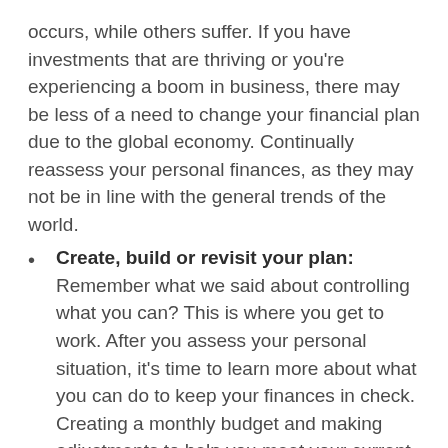occurs, while others suffer. If you have investments that are thriving or you're experiencing a boom in business, there may be less of a need to change your financial plan due to the global economy. Continually reassess your personal finances, as they may not be in line with the general trends of the world.
Create, build or revisit your plan: Remember what we said about controlling what you can? This is where you get to work. After you assess your personal situation, it's time to learn more about what you can do to keep your finances in check. Creating a monthly budget and making adjustments to help you meet your current financial goals can be a first step toward getting rid of financial debt...